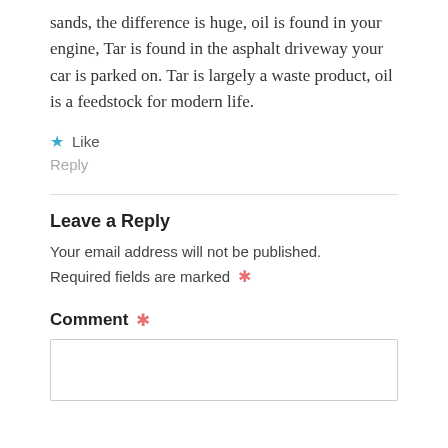sands, the difference is huge, oil is found in your engine, Tar is found in the asphalt driveway your car is parked on. Tar is largely a waste product, oil is a feedstock for modern life.
★ Like
Reply
Leave a Reply
Your email address will not be published. Required fields are marked *
Comment *